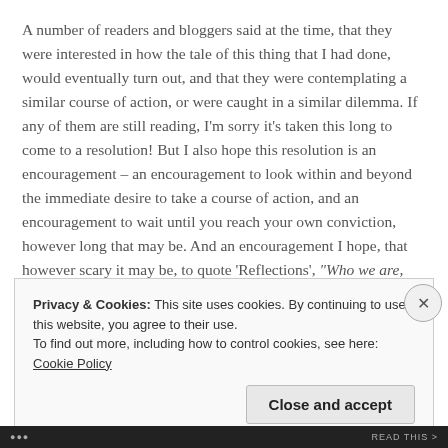A number of readers and bloggers said at the time, that they were interested in how the tale of this thing that I had done, would eventually turn out, and that they were contemplating a similar course of action, or were caught in a similar dilemma. If any of them are still reading, I'm sorry it's taken this long to come to a resolution! But I also hope this resolution is an encouragement – an encouragement to look within and beyond the immediate desire to take a course of action, and an encouragement to wait until you reach your own conviction, however long that may be. And an encouragement I hope, that however scary it may be, to quote 'Reflections', "Who we are, and
Privacy & Cookies: This site uses cookies. By continuing to use this website, you agree to their use.
To find out more, including how to control cookies, see here: Cookie Policy
Close and accept